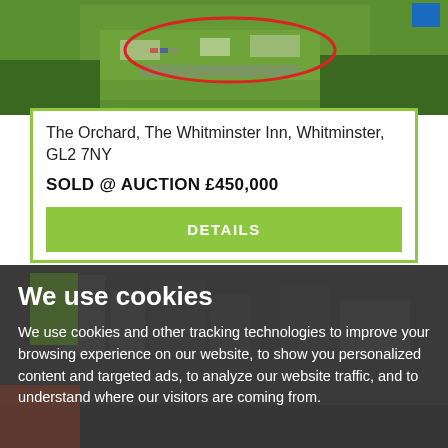[Figure (photo): Aerial view of The Orchard, The Whitminster Inn property showing green fields and buildings with a red oval marking and a small blue square in the top right corner]
The Orchard, The Whitminster Inn, Whitminster, GL2 7NY
SOLD @ AUCTION £450,000
DETAILS
We use cookies
We use cookies and other tracking technologies to improve your browsing experience on our website, to show you personalized content and targeted ads, to analyze our website traffic, and to understand where our visitors are coming from.